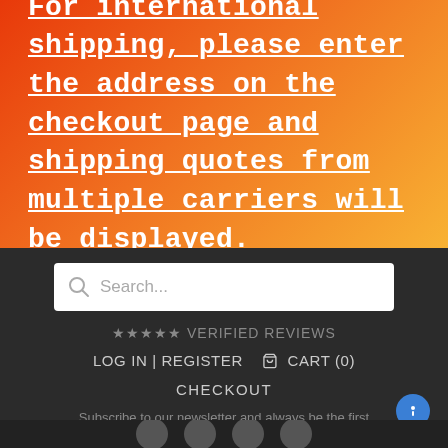For international shipping, please enter the address on the checkout page and shipping quotes from multiple carriers will be displayed.
[Figure (screenshot): Search bar with magnifying glass icon and placeholder text 'Search...']
★★★★★ VERIFIED REVIEWS
LOG IN | REGISTER   🛒 CART (0)
CHECKOUT
Subscribe to our newsletter and always be the first to hear about what is happening.
[Figure (screenshot): Email input field with placeholder 'Enter your email address...']
SIGN UP